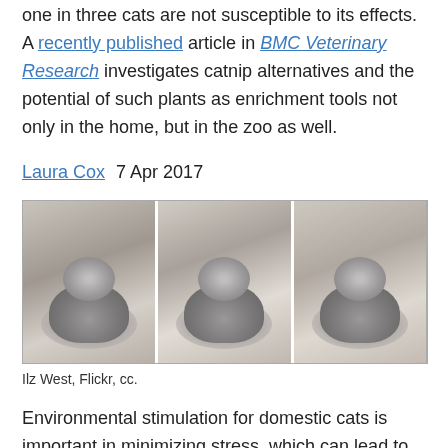one in three cats are not susceptible to its effects. A recently published article in BMC Veterinary Research investigates catnip alternatives and the potential of such plants as enrichment tools not only in the home, but in the zoo as well.
Laura Cox  7 Apr 2017
[Figure (photo): Three-panel photograph of a fluffy gray tabby cat in different poses on a light floor, with green leaves nearby. Photo credit: Ilz West, Flickr, cc.]
Ilz West, Flickr, cc.
Environmental stimulation for domestic cats is important in minimizing stress, which can lead to negative behaviors, and development of disease. There are several recommended